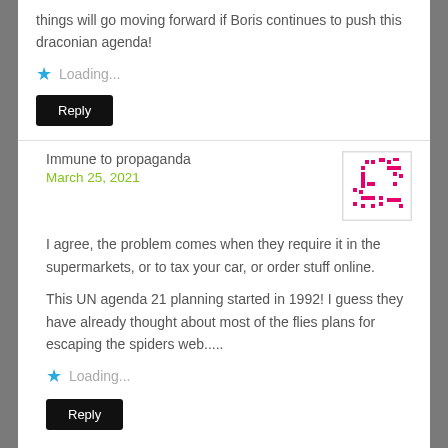things will go moving forward if Boris continues to push this draconian agenda!
Loading...
Reply
Immune to propaganda
March 25, 2021
[Figure (illustration): Pixel-art style avatar made of pink/magenta square dots arranged in an abstract pattern on a white background with a light border]
I agree, the problem comes when they require it in the supermarkets, or to tax your car, or order stuff online.

This UN agenda 21 planning started in 1992! I guess they have already thought about most of the flies plans for escaping the spiders web.....
Loading...
Reply